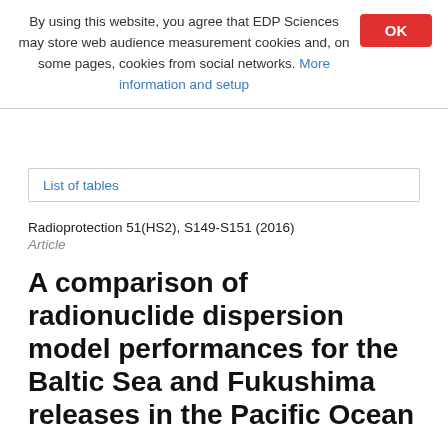By using this website, you agree that EDP Sciences may store web audience measurement cookies and, on some pages, cookies from social networks. More information and setup
List of tables
Radioprotection 51(HS2), S149-S151 (2016)
Article
A comparison of radionuclide dispersion model performances for the Baltic Sea and Fukushima releases in the Pacific Ocean
R. Periáñez1, R. Bezhenar2, I. Brovchenko3, C. Cuffa4, M. Iosjpe5, K.T. Jung6, T. Kobayashi7, F. Lamego8, V. Maderich3, B.I. Min9, H. Nies10, I. Osvath11, I. Outola12, M. Psaltaki13,